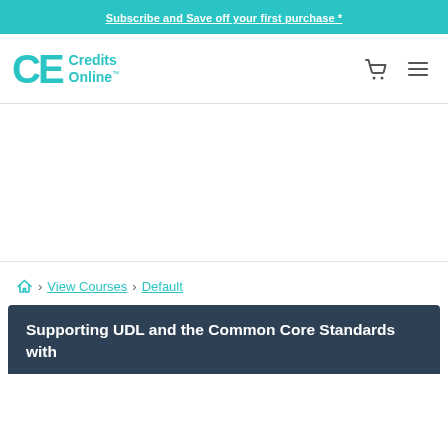Subscribe and Save off your first purchase *
[Figure (logo): CE Credits Online logo with teal CE letters and Credits Online text]
[Figure (other): Advertisement / banner area (white space)]
🏠 › View Courses › Default
Supporting UDL and the Common Core Standards with